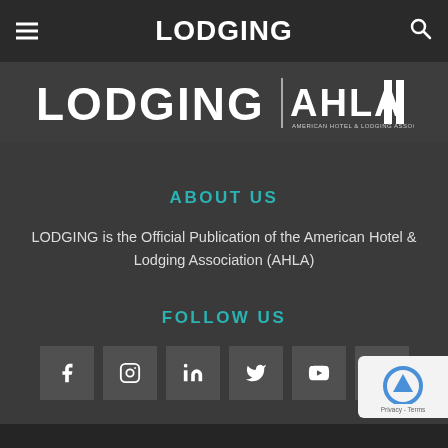LODGING
[Figure (logo): LODGING | AHLA (American Hotel & Lodging Association) logo with white text on dark background]
ABOUT US
LODGING is the Official Publication of the American Hotel & Lodging Association (AHLA)
FOLLOW US
[Figure (illustration): Social media icons: Facebook, Instagram, LinkedIn, Twitter, YouTube in dark square boxes]